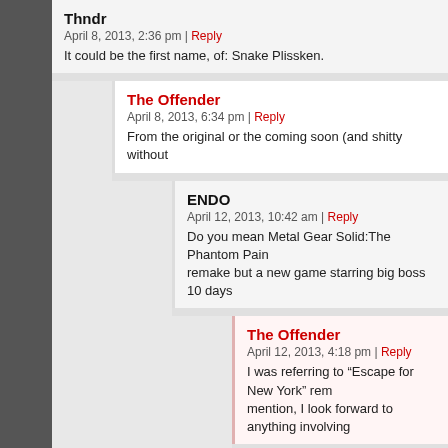Thndr
April 8, 2013, 2:36 pm | Reply
It could be the first name, of: Snake Plissken.
The Offender
April 8, 2013, 6:34 pm | Reply
From the original or the coming soon (and shitty without
ENDO
April 12, 2013, 10:42 am | Reply
Do you mean Metal Gear Solid:The Phantom Pain remake but a new game starring big boss 10 days
The Offender
April 12, 2013, 4:18 pm | Reply
I was referring to "Escape for New York" rem mention, I look forward to anything involving
ENDO
April 13, 2013, 12:13 am | Reply
Oops, sorry, my bad.
The Offender
April 14, 2013, 1:58 ...| Reply